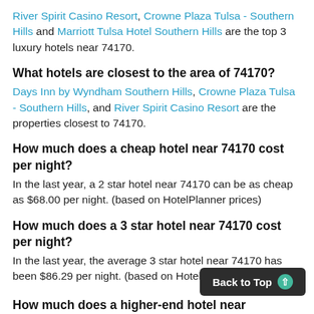River Spirit Casino Resort, Crowne Plaza Tulsa - Southern Hills and Marriott Tulsa Hotel Southern Hills are the top 3 luxury hotels near 74170.
What hotels are closest to the area of 74170?
Days Inn by Wyndham Southern Hills, Crowne Plaza Tulsa - Southern Hills, and River Spirit Casino Resort are the properties closest to 74170.
How much does a cheap hotel near 74170 cost per night?
In the last year, a 2 star hotel near 74170 can be as cheap as $68.00 per night. (based on HotelPlanner prices)
How much does a 3 star hotel near 74170 cost per night?
In the last year, the average 3 star hotel near 74170 has been $86.29 per night. (based on HotelPlanner prices)
How much does a higher-end hotel near